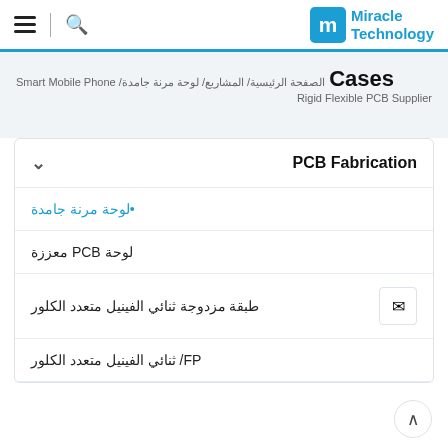Miracle Technology — navigation header with hamburger menu, search icon, and logo
الصفحة الرئيسية/ المشاريع/ لوحة مرنة جامدة/ Smart Mobile Phone Cases
Rigid Flexible PCB Supplier
PCB Fabrication
•لوحة مرنة جامدة
لوحة PCB معززة
طبقة مزدوجة ثنائي الفينيل متعدد الكلور
FP/ ثنائي الفينيل متعدد الكلور